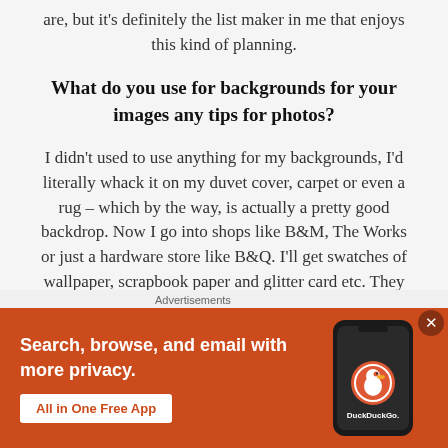are, but it's definitely the list maker in me that enjoys this kind of planning.
What do you use for backgrounds for your images any tips for photos?
I didn't used to use anything for my backgrounds, I'd literally whack it on my duvet cover, carpet or even a rug – which by the way, is actually a pretty good backdrop. Now I go into shops like B&M, The Works or just a hardware store like B&Q. I'll get swatches of wallpaper, scrapbook paper and glitter card etc. They
[Figure (screenshot): DuckDuckGo advertisement banner: orange background with white text 'Search, browse, and email with more privacy.' and 'All in One Free App' button, with a phone image showing DuckDuckGo logo on the right.]